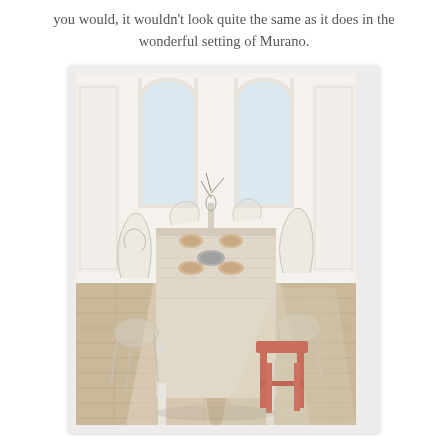you would, it wouldn't look quite the same as it does in the wonderful setting of Murano.
[Figure (photo): Interior dining room photo showing a long wooden dining table set with plates and bowls, surrounded by transparent ghost chairs, with a bright red stool/bench at the end. The room has white walls, arched windows, and light wood plank flooring.]